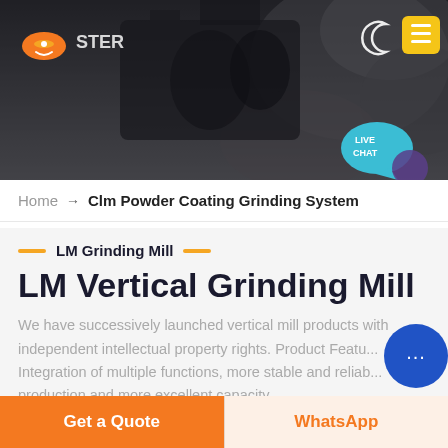[Figure (photo): Industrial grinding mill machinery hero banner with dark overlay, company logo on left, navigation moon icon and yellow hamburger menu on right, Live Chat teal bubble bottom right]
Home → Clm Powder Coating Grinding System
LM Grinding Mill
LM Vertical Grinding Mill
We have successively launched vertical mill products with independent intellectual property rights. Product Featu... Integration of multiple functions, more stable and reliab... production and more excellent capacity.